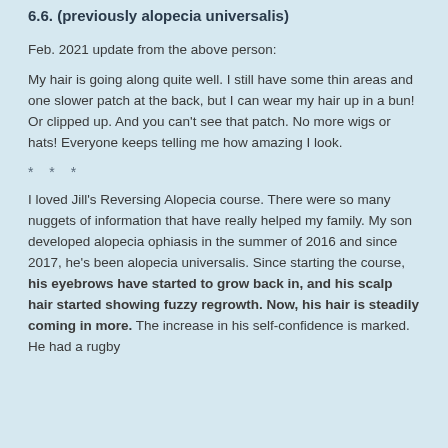6.6. (previously alopecia universalis)
Feb. 2021 update from the above person:
My hair is going along quite well. I still have some thin areas and one slower patch at the back, but I can wear my hair up in a bun! Or clipped up. And you can't see that patch. No more wigs or hats! Everyone keeps telling me how amazing I look.
* * *
I loved Jill's Reversing Alopecia course. There were so many nuggets of information that have really helped my family. My son developed alopecia ophiasis in the summer of 2016 and since 2017, he's been alopecia universalis. Since starting the course, his eyebrows have started to grow back in, and his scalp hair started showing fuzzy regrowth. Now, his hair is steadily coming in more. The increase in his self-confidence is marked. He had a rugby